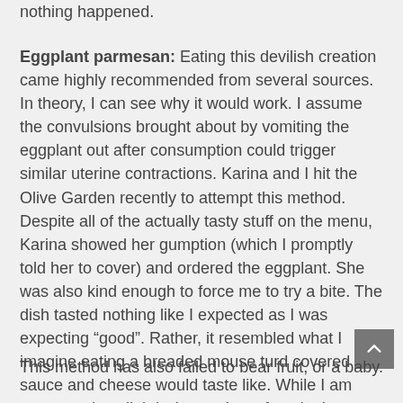nothing happened.
Eggplant parmesan: Eating this devilish creation came highly recommended from several sources. In theory, I can see why it would work. I assume the convulsions brought about by vomiting the eggplant out after consumption could trigger similar uterine contractions. Karina and I hit the Olive Garden recently to attempt this method. Despite all of the actually tasty stuff on the menu, Karina showed her gumption (which I promptly told her to cover) and ordered the eggplant. She was also kind enough to force me to try a bite. The dish tasted nothing like I expected as I was expecting “good”. Rather, it resembled what I imagine eating a breaded mouse turd covered in sauce and cheese would taste like. While I am exaggerating slightly, it wasn’t my favorite item on the menu.
This method has also failed to bear fruit, or a baby.